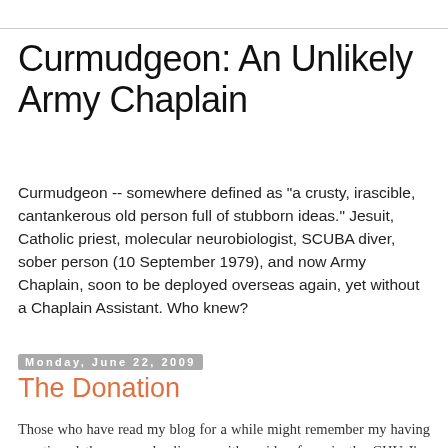Curmudgeon: An Unlikely Army Chaplain
Curmudgeon -- somewhere defined as "a crusty, irascible, cantankerous old person full of stubborn ideas." Jesuit, Catholic priest, molecular neurobiologist, SCUBA diver, sober person (10 September 1979), and now Army Chaplain, soon to be deployed overseas again, yet without a Chaplain Assistant. Who knew?
Monday, June 22, 2009
The Donation
Those who have read my blog for a while might remember my having mentioned the guys who live on either side of me in the CHU I've called 'home' for the past almost eleven months.